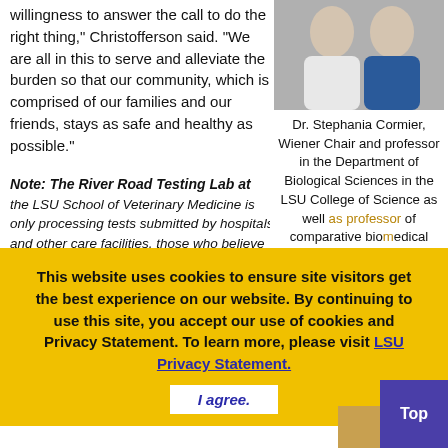willingness to answer the call to do the right thing," Christofferson said. "We are all in this to serve and alleviate the burden so that our community, which is comprised of our families and our friends, stays as safe and healthy as possible."
[Figure (photo): Two women in professional/medical attire — one in a white lab coat, one in a blue blazer — side by side portrait photo.]
Dr. Stephania Cormier, Wiener Chair and professor in the Department of Biological Sciences in the LSU College of Science as well as professor of comparative biomedical sciences in the LSU School of Veterinary Medicine, and Dr. Rebecca Christofferson, assistant professor of pathobiological sciences in the LSU School of Veterinary Medicine
Note: The River Road Testing Lab at the LSU School of Veterinary Medicine is only processing tests submitted by hospitals and other care facilities. those who believe they need to be tested for COVID-19 should speak to their physicians. Also, test results are never shared directly or over the phone; they are only communicated to the hospitals and care facilities who sent in samples. The River Road Testing Lab owes its name to the Mississippi River, which anchors the LSU campus and the School of Veterinary Medicine
This website uses cookies to ensure site visitors get the best experience on our website. By continuing to use this site, you accept our use of cookies and Privacy Statement. To learn more, please visit LSU Privacy Statement.